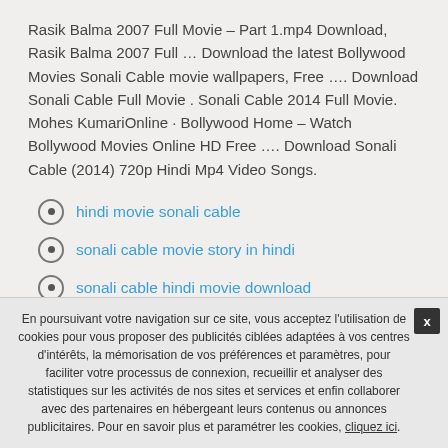Rasik Balma 2007 Full Movie – Part 1.mp4 Download, Rasik Balma 2007 Full … Download the latest Bollywood Movies Sonali Cable movie wallpapers, Free …. Download Sonali Cable Full Movie . Sonali Cable 2014 Full Movie. Mohes KumariOnline · Bollywood Home – Watch Bollywood Movies Online HD Free …. Download Sonali Cable (2014) 720p Hindi Mp4 Video Songs.
hindi movie sonali cable
sonali cable movie story in hindi
sonali cable hindi movie download
The latest Tweets from Free Mobile Movies...
En poursuivant votre navigation sur ce site, vous acceptez l'utilisation de cookies pour vous proposer des publicités ciblées adaptées à vos centres d'intérêts, la mémorisation de vos préférences et paramètres, pour faciliter votre processus de connexion, recueillir et analyser des statistiques sur les activités de nos sites et services et enfin collaborer avec des partenaires en hébergeant leurs contenus ou annonces publicitaires. Pour en savoir plus et paramétrer les cookies, cliquez ici.